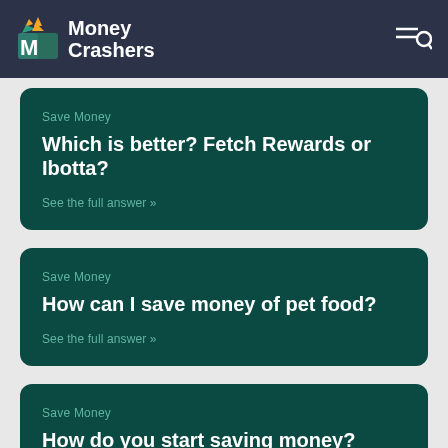Money Crashers
Save Money
Which is better? Fetch Rewards or Ibotta?
See the full answer »
Save Money
How can I save money of pet food?
See the full answer »
Save Money
How do you start saving money?